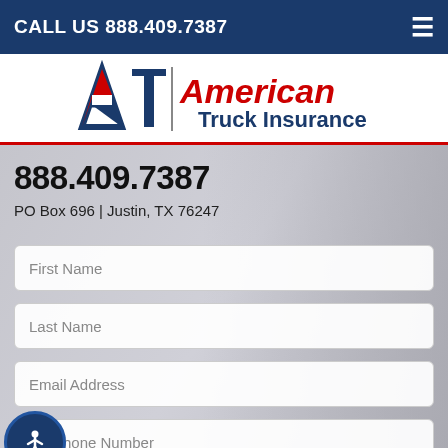CALL US 888.409.7387
[Figure (logo): ATI American Truck Insurance logo with stylized A and T letters with American flag motif]
888.409.7387
PO Box 696 | Justin, TX 76247
First Name
Last Name
Email Address
Phone Number
SUBMIT